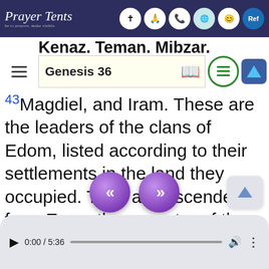Prayer Tents
Kenaz, Teman, Mibzar,
Genesis 36
43 Magdiel, and Iram. These are the leaders of the clans of Edom, listed according to their settlements in the land they occupied. They all descended from Esau, the ancestor of the Edomites.
[Figure (screenshot): Navigation buttons: double left arrow (previous) and double right arrow (next), purple circular buttons; an up arrow button on the right]
[Figure (screenshot): Audio player bar showing 0:00 / 5:36 with progress bar, volume and more icons]